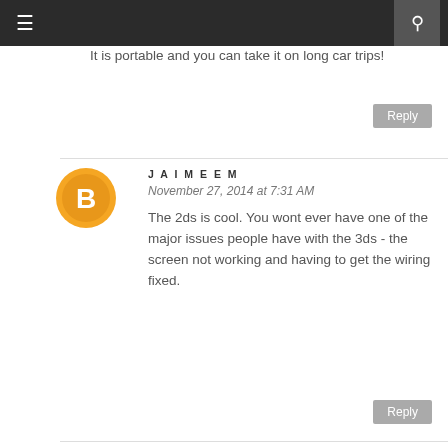☰  🔍
It is portable and you can take it on long car trips!
JAIMEEM
November 27, 2014 at 7:31 AM
The 2ds is cool. You wont ever have one of the major issues people have with the 3ds - the screen not working and having to get the wiring fixed.